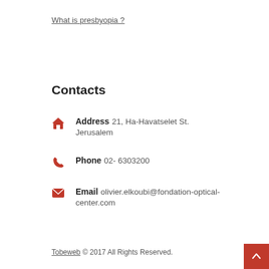What is presbyopia ?
Contacts
Address 21, Ha-Havatselet St. Jerusalem
Phone 02- 6303200
Email olivier.elkoubi@fondation-optical-center.com
Tobeweb © 2017 All Rights Reserved.